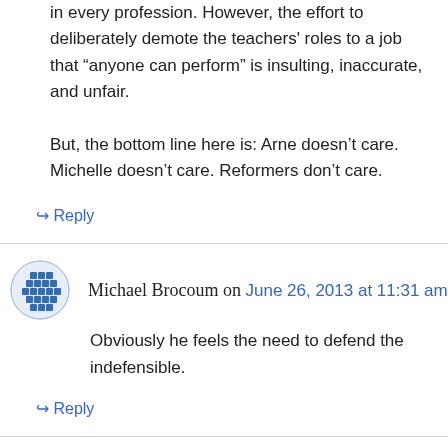in every profession. However, the effort to deliberately demote the teachers' roles to a job that “anyone can perform” is insulting, inaccurate, and unfair.

But, the bottom line here is: Arne doesn’t care. Michelle doesn’t care. Reformers don’t care.
↳ Reply
Michael Brocoum on June 26, 2013 at 11:31 am
Obviously he feels the need to defend the indefensible.
↳ Reply
Duane Swacker on June 26, 2013 at 2:37 pm